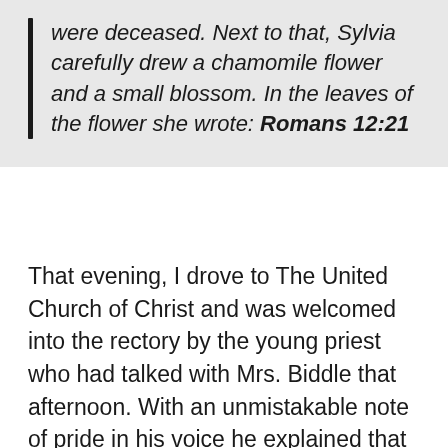were deceased. Next to that, Sylvia carefully drew a chamomile flower and a small blossom. In the leaves of the flower she wrote: Romans 12:21
That evening, I drove to The United Church of Christ and was welcomed into the rectory by the young priest who had talked with Mrs. Biddle that afternoon. With an unmistakable note of pride in his voice he explained that this parish is the oldest in the county, dating back to the